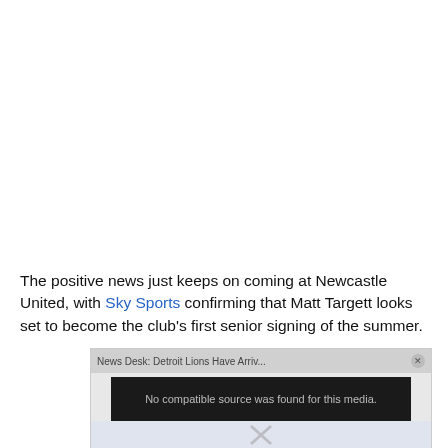The positive news just keeps on coming at Newcastle United, with Sky Sports confirming that Matt Targett looks set to become the club's first senior signing of the summer.
[Figure (screenshot): An embedded video player overlay showing 'News Desk: Detroit Lions Have Arriv...' with a close button and a dark panel reading 'No compatible source was found for this media.' over a blurred crowd image with an X mark.]